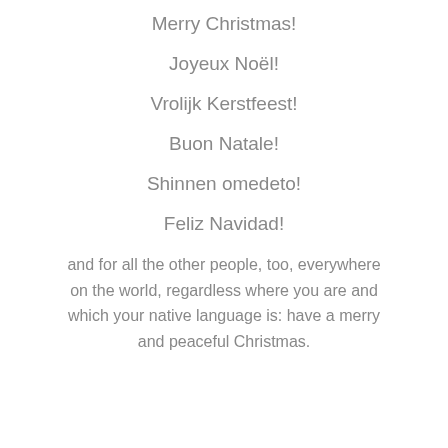Merry Christmas!
Joyeux Noël!
Vrolijk Kerstfeest!
Buon Natale!
Shinnen omedeto!
Feliz Navidad!
and for all the other people, too, everywhere on the world, regardless where you are and which your native language is: have a merry and peaceful Christmas.